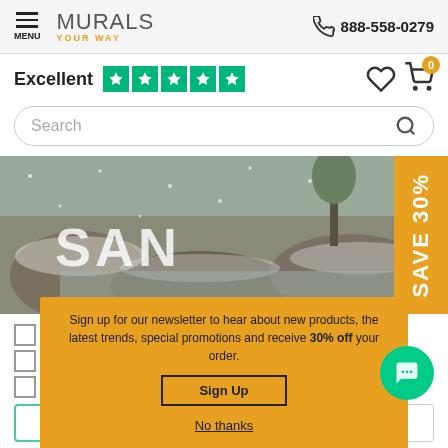MURALS YOUR WAY — 888-558-0279
Excellent ★★★★★
[Figure (screenshot): Search bar with magnifying glass icon]
[Figure (photo): Banner image showing snowy rocky winter landscape with large 'SAN' text overlay, and an orange 'SAVE 30%' vertical tab on the right]
Eco Bella™ - Texture
Frosted Window Film
Prepasted Wallpaper
SmartStick®
VersaG... ture
Sign up for our newsletter to hear about new products, the latest trends, special promotions and receive 30% off your order.
Sign Up
No thanks